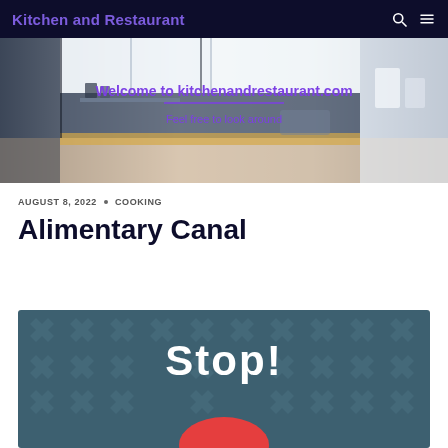Kitchen and Restaurant
[Figure (photo): Hero banner image of a modern white kitchen with shelves, plants, and kitchen equipment. Overlaid with purple text 'Welcome to kitchenandrestaurant.com' and 'Feel free to look around'.]
AUGUST 8, 2022 · COOKING
Alimentary Canal
[Figure (illustration): Dark teal background with repeating X/cross pattern, white bold 'Stop!' text, and a red circular button element at the bottom.]